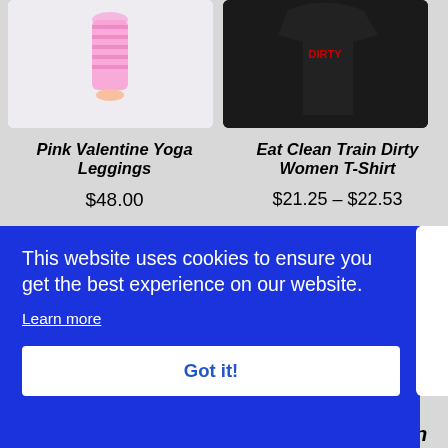[Figure (photo): Pink Valentine Yoga Leggings product image - pink patterned leggings on model]
[Figure (photo): Eat Clean Train Dirty Women T-Shirt product image - black shirt on dark background]
Pink Valentine Yoga Leggings
$48.00
Eat Clean Train Dirty Women T-Shirt
$21.25 – $22.53
This website uses cookies to ensure you get the best experience on our website.
Learn more
Got it!
Always Train   Go Clean Son Con